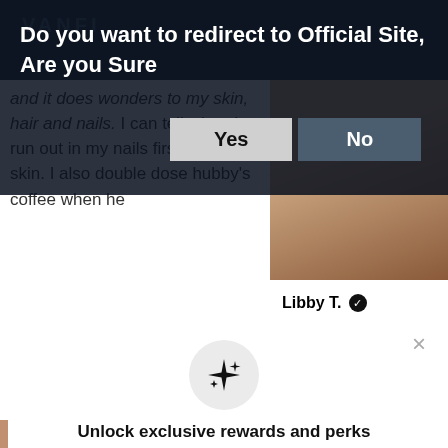Do you want to redirect to Official Site, Are you Sure
Yes
No
and it does wonders to my skin, hair and nails. I can tell when I run out in my nails first, then my skin.  I also double dose hubby's coffee when he
Libby T. ✓
[Figure (screenshot): A circular sparkle/stars icon on a light grey circle background]
Unlock exclusive rewards and perks
Sign up or Log in
Sign up
Already have an account? Sign in
The Beauty Mist leaves a beautiful natural glow